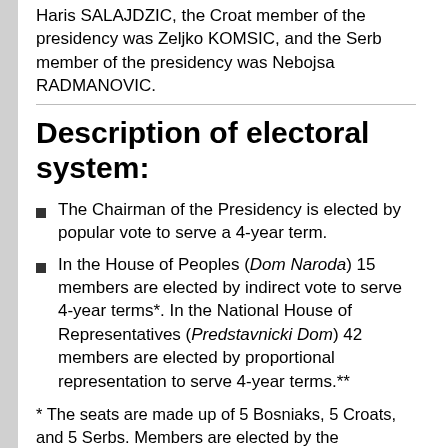Haris SALAJDZIC, the Croat member of the presidency was Zeljko KOMSIC, and the Serb member of the presidency was Nebojsa RADMANOVIC.
Description of electoral system:
The Chairman of the Presidency is elected by popular vote to serve a 4-year term.
In the House of Peoples (Dom Naroda) 15 members are elected by indirect vote to serve 4-year terms*. In the National House of Representatives (Predstavnicki Dom) 42 members are elected by proportional representation to serve 4-year terms.**
* The seats are made up of 5 Bosniaks, 5 Croats, and 5 Serbs. Members are elected by the Bosniak/Croat Fodoration's House of